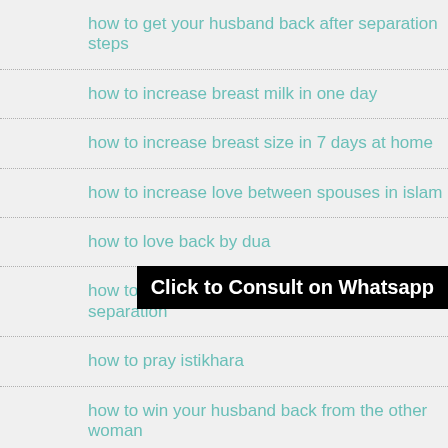how to get your husband back after separation steps
how to increase breast milk in one day
how to increase breast size in 7 days at home
how to increase love between spouses in islam
how to love back by dua
how to make my husband miss me during separation
how to pray istikhara
how to win your husband back from the other woman
husband job wazifa
husband ki job k liye wazifa
Click to Consult on Whatsapp